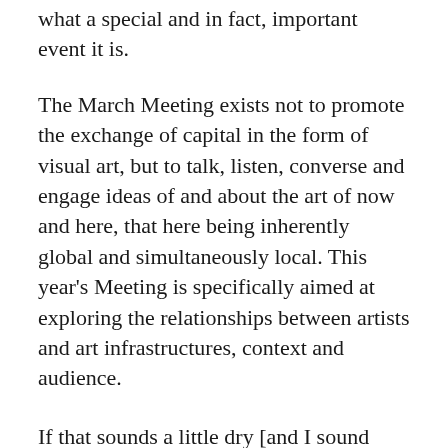what a special and in fact, important event it is.
The March Meeting exists not to promote the exchange of capital in the form of visual art, but to talk, listen, converse and engage ideas of and about the art of now and here, that here being inherently global and simultaneously local. This year's Meeting is specifically aimed at exploring the relationships between artists and art infrastructures, context and audience.
If that sounds a little dry [and I sound naive], its worth investigating, especially perhaps here in Sharjah where audience is nascent, which also means not yet habituated or complacent in its responses -a good thing obviously. The art of our times is changing formally to reflect…